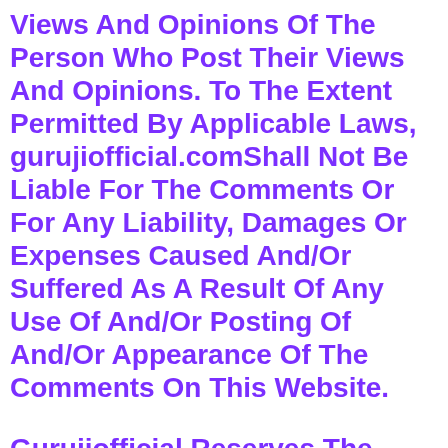Views And Opinions Of The Person Who Post Their Views And Opinions. To The Extent Permitted By Applicable Laws, gurujiofficial.comShall Not Be Liable For The Comments Or For Any Liability, Damages Or Expenses Caused And/Or Suffered As A Result Of Any Use Of And/Or Posting Of And/Or Appearance Of The Comments On This Website.
Gurujiofficial Reserves The Right To Monitor All Comments And To Remove Any Comments Which Can Be Considered Inappropriate, Offensive Or Causes Breach Of These Terms And Conditions.
You Warrant And Represent That: